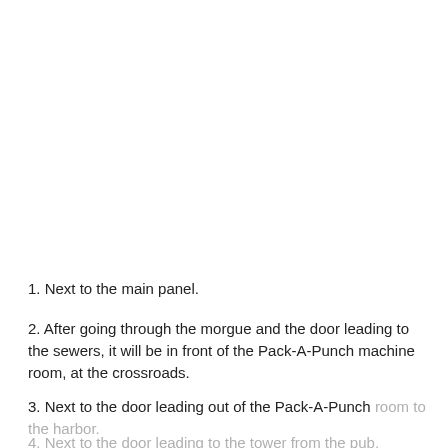1. Next to the main panel.
2. After going through the morgue and the door leading to the sewers, it will be in front of the Pack-A-Punch machine room, at the crossroads.
3. Next to the door leading out of the Pack-A-Punch room to the harbor.
4. Next to the door leading to the tower from the pub.